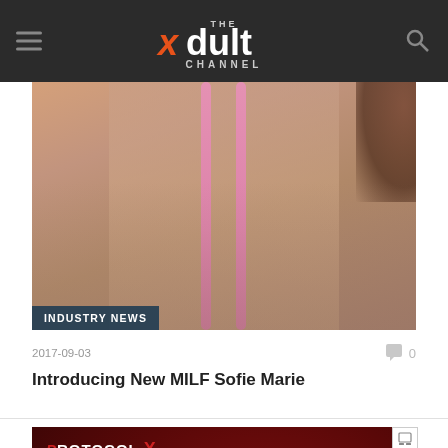THE xdult CHANNEL
[Figure (photo): Woman in pink bikini top, outdoor setting, beach background. INDUSTRY NEWS badge overlaid at bottom left.]
2017-09-03
0
Introducing New MILF Sofie Marie
[Figure (screenshot): Protocol X advertisement banner — dark red background with Protocol X logo and text FIRST SUSTAINABLE RELEASE PROJECT]